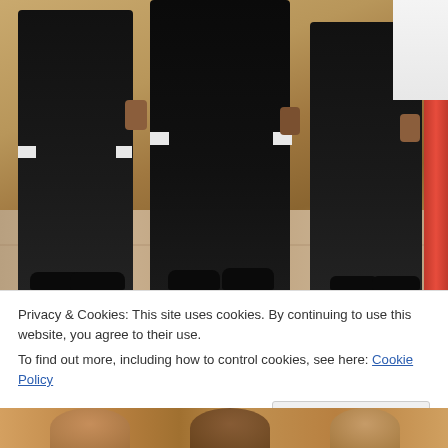[Figure (photo): Photo of three people dressed in formal black attire standing together on a stone-tiled floor. Left and center persons wear black suits with white shirt cuffs visible. Right person wears a black skirt and black shoes. A red carpet strip is visible on the far right edge.]
Privacy & Cookies: This site uses cookies. By continuing to use this website, you agree to their use.
To find out more, including how to control cookies, see here: Cookie Policy
Close and accept
[Figure (photo): Partial photo at the bottom of the page showing people at what appears to be a formal event.]